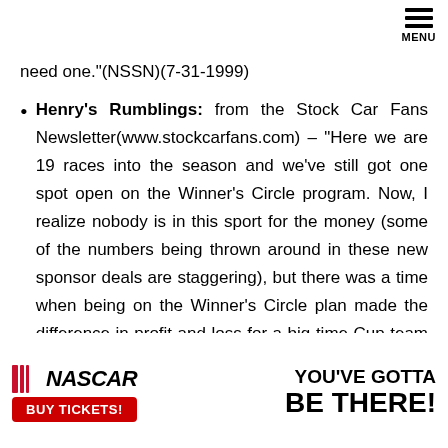MENU
need one."(NSSN)(7-31-1999)
Henry's Rumblings: from the Stock Car Fans Newsletter(www.stockcarfans.com) – "Here we are 19 races into the season and we've still got one spot open on the Winner's Circle program. Now, I realize nobody is in this sport for the money (some of the numbers being thrown around in these new sponsor deals are staggering), but there was a time when being on the Winner's Circle plan made the difference in profit and loss for a big-time Cup team or two. I guess $300-$350K just doesn't buy what it used to. Anyway, the next race winner not already on the plan will
[Figure (advertisement): NASCAR advertisement banner: NASCAR logo with stripes, 'BUY TICKETS!' red button, and text 'YOU'VE GOTTA BE THERE!']